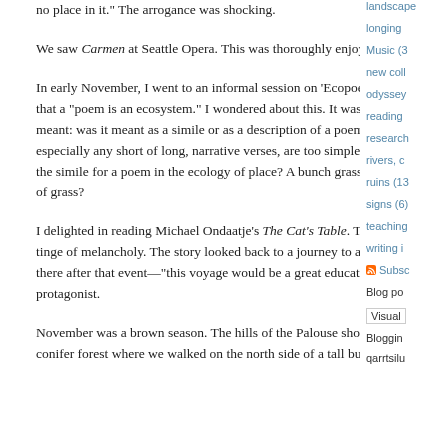no place in it.”  The arrogance was shocking.
We saw Carmen at Seattle Opera.  This was thoroughly enjoyable.
In early November, I went to an informal session on ‘Ecopoetics on the Palouse.’  One of the participants said that a “poem is an ecosystem.”  I wondered about this. It was unclear to me what the speaker may have meant:  was it meant as a simile or as a description of a poem’s complexity and function?   Most poems, especially any short of long, narrative verses, are too simple to stand in comparison to ecosystems.  What is the simile for a poem in the ecology of place?  A bunch grass, perhaps?  Maybe a lyrical poem is just a blade of grass?
I delighted in reading Michael Ondaatje’s The Cat’s Table.  The book had a lovely shadowy tone, a slight tinge of melancholy.  The story looked back to a journey to ask what had there been before and what was there after that event—“this voyage would be a great education,” one of characters told the young protagonist.
November was a brown season.  The hills of the Palouse showed dark soil or lighter crop stubble.   In the conifer forest where we walked on the north side of a tall butte, the woods were nearly a cave of brown
landscape
longing
Music (3
new coll
odyssey
reading
research
rivers, c
ruins (13
signs (6)
teaching
writing i
Subsc
Blog po
Visual
Bloggin
qarrtsilu